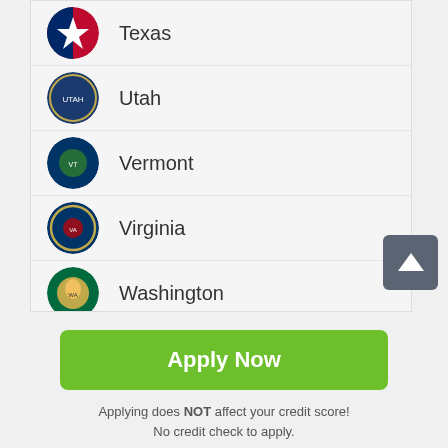Texas
Utah
Vermont
Virginia
Washington
West Virginia
Apply Now
Applying does NOT affect your credit score!
No credit check to apply.